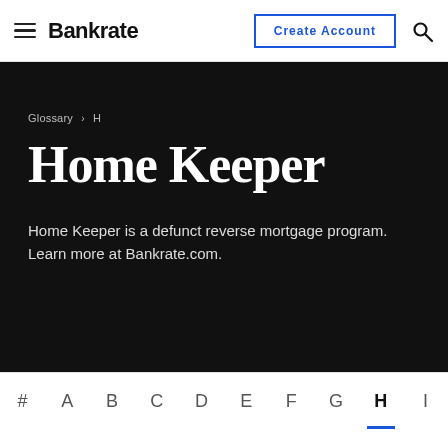Bankrate — Create Account
Glossary › H
Home Keeper
Home Keeper is a defunct reverse mortgage program. Learn more at Bankrate.com.
# A B C D E F G H I